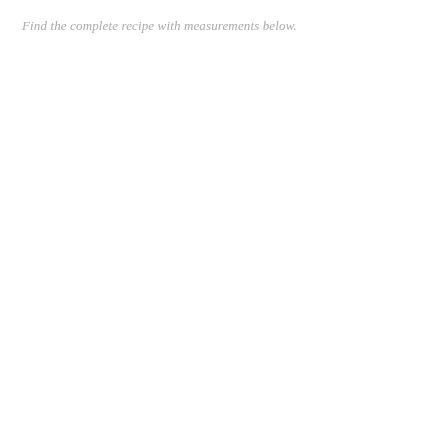Find the complete recipe with measurements below.